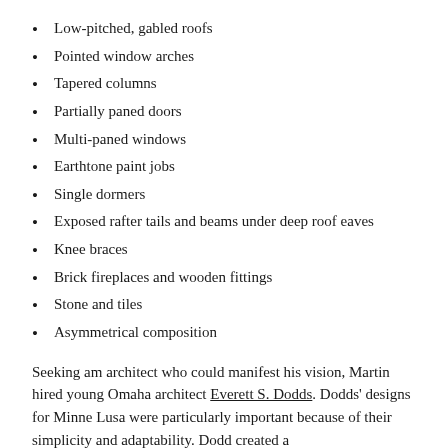Low-pitched, gabled roofs
Pointed window arches
Tapered columns
Partially paned doors
Multi-paned windows
Earthtone paint jobs
Single dormers
Exposed rafter tails and beams under deep roof eaves
Knee braces
Brick fireplaces and wooden fittings
Stone and tiles
Asymmetrical composition
Seeking am architect who could manifest his vision, Martin hired young Omaha architect Everett S. Dodds. Dodds' designs for Minne Lusa were particularly important because of their simplicity and adaptability. Dodd created a